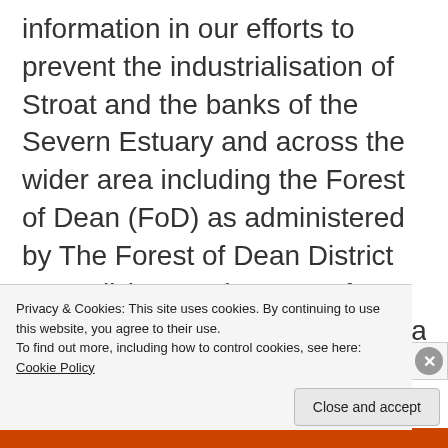information in our efforts to prevent the industrialisation of Stroat and the banks of the Severn Estuary and across the wider area including the Forest of Dean (FoD) as administered by The Forest of Dean District Council (FoDDC), areas of outstanding natural beauty (AoONB), sites of special scientific interest (SSI) & wildlife habitats.
Please help to spread the truth about the
Privacy & Cookies: This site uses cookies. By continuing to use this website, you agree to their use.
To find out more, including how to control cookies, see here: Cookie Policy
Close and accept